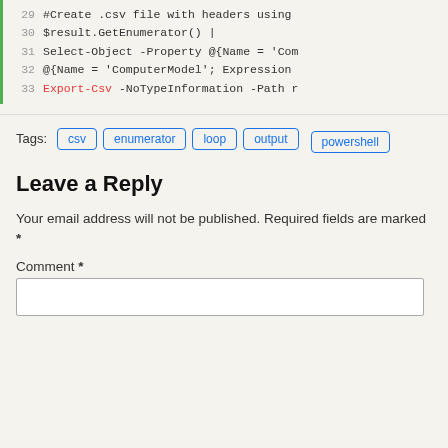[Figure (screenshot): Code snippet showing PowerShell lines 29-33 with line numbers, green left border, syntax highlighting in red and blue on a light background.]
Tags: csv enumerator loop output powershell
Leave a Reply
Your email address will not be published. Required fields are marked *
Comment *